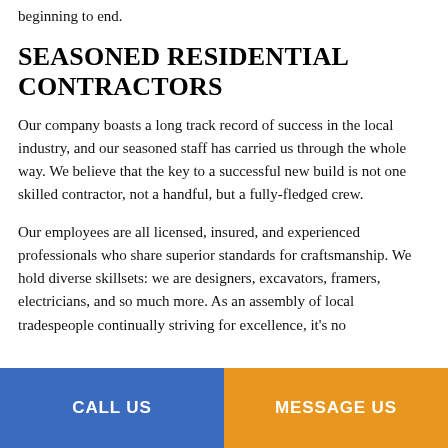beginning to end.
SEASONED RESIDENTIAL CONTRACTORS
Our company boasts a long track record of success in the local industry, and our seasoned staff has carried us through the whole way. We believe that the key to a successful new build is not one skilled contractor, not a handful, but a fully-fledged crew.
Our employees are all licensed, insured, and experienced professionals who share superior standards for craftsmanship. We hold diverse skillsets: we are designers, excavators, framers, electricians, and so much more. As an assembly of local tradespeople continually striving for excellence, it's no
CALL US | MESSAGE US